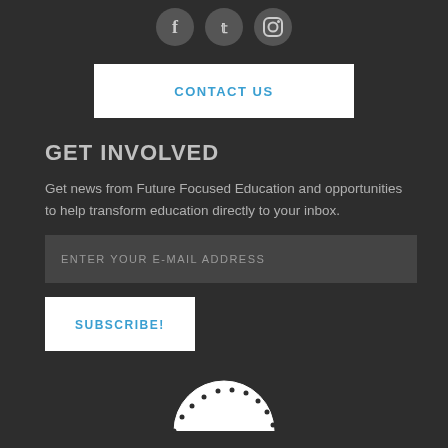[Figure (illustration): Three social media icons (Facebook, Twitter, Instagram) as dark circular buttons]
CONTACT US
GET INVOLVED
Get news from Future Focused Education and opportunities to help transform education directly to your inbox.
ENTER YOUR E-MAIL ADDRESS
SUBSCRIBE!
[Figure (logo): Future Focused Education logo — semicircle arc with dots pattern, and text FUTURE below]